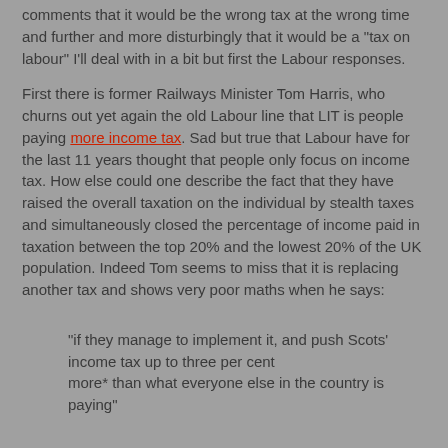comments that it would be the wrong tax at the wrong time and further and more disturbingly that it would be a "tax on labour" I'll deal with in a bit but first the Labour responses.
First there is former Railways Minister Tom Harris, who churns out yet again the old Labour line that LIT is people paying more income tax. Sad but true that Labour have for the last 11 years thought that people only focus on income tax. How else could one describe the fact that they have raised the overall taxation on the individual by stealth taxes and simultaneously closed the percentage of income paid in taxation between the top 20% and the lowest 20% of the UK population. Indeed Tom seems to miss that it is replacing another tax and shows very poor maths when he says:
"if they manage to implement it, and push Scots' income tax up to three per cent more* than what everyone else in the country is paying"